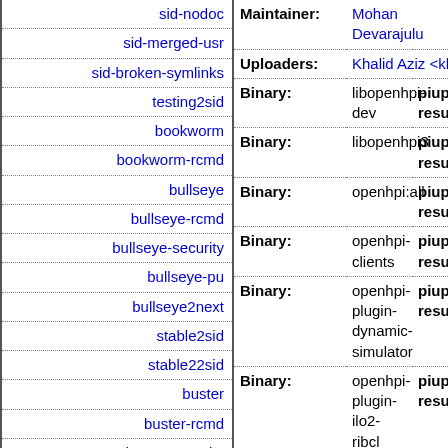| Distribution |
| --- |
| sid-nodoc |
| sid-merged-usr |
| sid-broken-symlinks |
| testing2sid |
| bookworm |
| bookworm-rcmd |
| bullseye |
| bullseye-rcmd |
| bullseye-security |
| bullseye-pu |
| bullseye2next |
| stable2sid |
| stable22sid |
| buster |
| buster-rcmd |
| buster-security |
| buster-pu |
| buster2next |
| Field | Value | Extra |
| --- | --- | --- |
| Maintainer: | Mohan Devarajulu… |  |
| Uploaders: | Khalid Aziz <khali… |  |
| Binary: | libopenhpi-dev | piup resu… |
| Binary: | libopenhpi3 | piup resu… |
| Binary: | openhpi:all | piup resu… |
| Binary: | openhpi-clients | piup resu… |
| Binary: | openhpi-plugin-dynamic-simulator | piup resu… |
| Binary: | openhpi-plugin-ilo2-ribcl | piup resu… |
| Binary: | openhpi- | piup… |